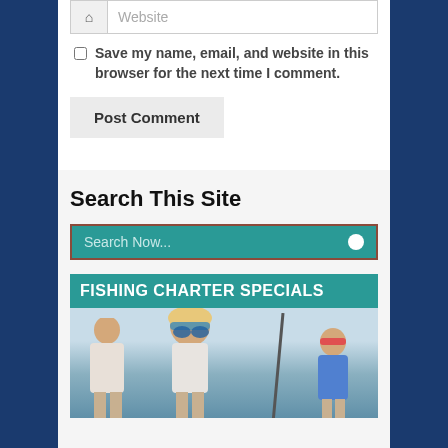Website
Save my name, email, and website in this browser for the next time I comment.
Post Comment
Search This Site
Search Now...
[Figure (photo): Fishing Charter Specials banner with photo of people on a boat]
FISHING CHARTER SPECIALS